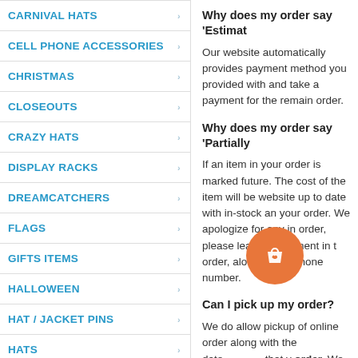CARNIVAL HATS
CELL PHONE ACCESSORIES
CHRISTMAS
CLOSEOUTS
CRAZY HATS
DISPLAY RACKS
DREAMCATCHERS
FLAGS
GIFTS ITEMS
HALLOWEEN
HAT / JACKET PINS
HATS
HOT NEW ITEMS
INFLATABLE TOYS
JEWELRY
JOKE NOVELTIES
Why does my order say 'Estimat...
Our website automatically provides payment method you provided with and take a payment for the remain order.
Why does my order say 'Partially...
If an item in your order is marked future. The cost of the item will be website up to date with in-stock an your order. We apologize for any in order, please leave a comment in t order, along with a phone number.
Can I pick up my order?
We do allow pickup of online order along with the date that y order. We print ord ne we day, we may not see en plac funds will be refunded to the paym